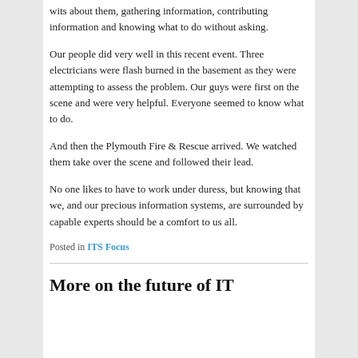wits about them, gathering information, contributing information and knowing what to do without asking.
Our people did very well in this recent event. Three electricians were flash burned in the basement as they were attempting to assess the problem. Our guys were first on the scene and were very helpful. Everyone seemed to know what to do.
And then the Plymouth Fire & Rescue arrived. We watched them take over the scene and followed their lead.
No one likes to have to work under duress, but knowing that we, and our precious information systems, are surrounded by capable experts should be a comfort to us all.
Posted in ITS Focus
More on the future of IT